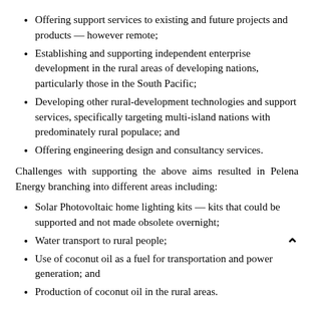Offering support services to existing and future projects and products — however remote;
Establishing and supporting independent enterprise development in the rural areas of developing nations, particularly those in the South Pacific;
Developing other rural-development technologies and support services, specifically targeting multi-island nations with predominately rural populace; and
Offering engineering design and consultancy services.
Challenges with supporting the above aims resulted in Pelena Energy branching into different areas including:
Solar Photovoltaic home lighting kits — kits that could be supported and not made obsolete overnight;
Water transport to rural people;
Use of coconut oil as a fuel for transportation and power generation; and
Production of coconut oil in the rural areas.